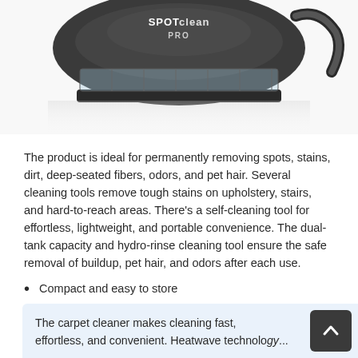[Figure (photo): Top portion of a Bissell SpotClean Pro portable carpet cleaner, showing the dark gray round machine with 'SpotClean PRO' branding on top and a transparent dirt tank below.]
The product is ideal for permanently removing spots, stains, dirt, deep-seated fibers, odors, and pet hair. Several cleaning tools remove tough stains on upholstery, stairs, and hard-to-reach areas. There's a self-cleaning tool for effortless, lightweight, and portable convenience. The dual-tank capacity and hydro-rinse cleaning tool ensure the safe removal of buildup, pet hair, and odors after each use.
Compact and easy to store
3-inch stain remover tool
Self-cleaning tool
Trial-size formula
The carpet cleaner makes cleaning fast, effortless, and convenient. Heatwave technology...